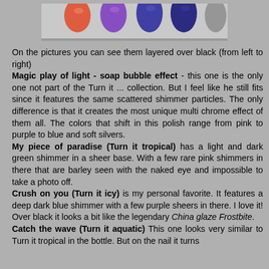[Figure (photo): Partial view of nail swatches showing colored nail tips layered over black, visible from top portion of the image. Colors include orange/red, purple/chrome, blue, and others on a gray background.]
On the pictures you can see them layered over black (from left to right)
Magic play of light - soap bubble effect - this one is the only one not part of the Turn it ... collection. But I feel like he still fits since it features the same scattered shimmer particles. The only difference is that it creates the most unique multi chrome effect of them all. The colors that shift in this polish range from pink to purple to blue and soft silvers.
My piece of paradise (Turn it tropical) has a light and dark green shimmer in a sheer base. With a few rare pink shimmers in there that are barley seen with the naked eye and impossible to take a photo off.
Crush on you (Turn it icy) is my personal favorite. It features a deep dark blue shimmer with a few purple sheers in there. I love it! Over black it looks a bit like the legendary China glaze Frostbite.
Catch the wave (Turn it aquatic) This one looks very similar to Turn it tropical in the bottle. But on the nail it turns